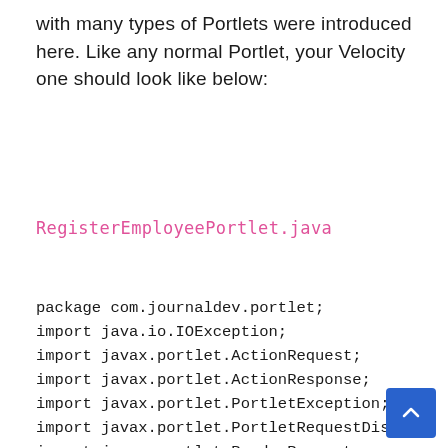with many types of Portlets were introduced here. Like any normal Portlet, your Velocity one should look like below:
RegisterEmployeePortlet.java
package com.journaldev.portlet;
import java.io.IOException;
import javax.portlet.ActionRequest;
import javax.portlet.ActionResponse;
import javax.portlet.PortletException;
import javax.portlet.PortletRequestDispa
import javax.portlet.RenderRequest;
import javax.portlet.RenderResponse;
public class RegisterEmployeePortlet ext
        public void doView(RenderRequest
            // Check the status para